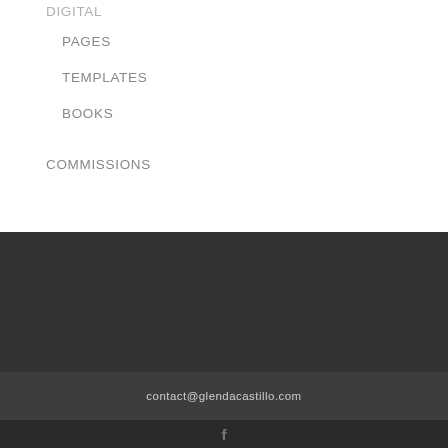DIGITAL
PAGES
TEMPLATES
BOOKS
COMMISSIONS
contact@glendacastillo.com
f